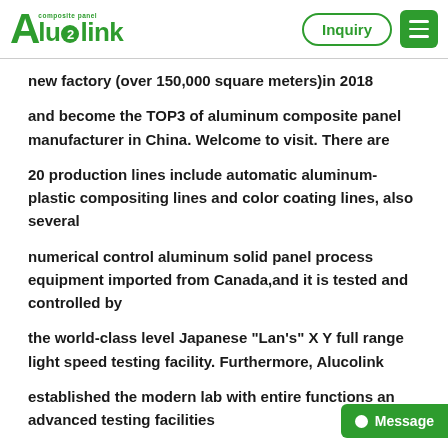Alucalink | Inquiry | Menu
new factory (over 150,000 square meters)in 2018
and become the TOP3 of aluminum composite panel manufacturer in China. Welcome to visit. There are
20 production lines include automatic aluminum-plastic compositing lines and color coating lines, also several
numerical control aluminum solid panel process equipment imported from Canada,and it is tested and controlled by
the world-class level Japanese "Lan's" X Y full range light speed testing facility. Furthermore, Alucolink
established the modern lab with entire functions and advanced testing facilities